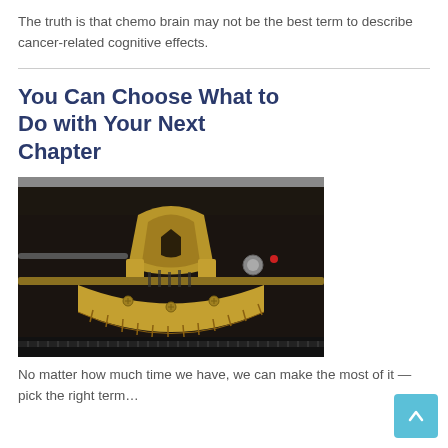The truth is that chemo brain may not be the best term to describe cancer-related cognitive effects.
You Can Choose What to Do with Your Next Chapter
[Figure (photo): Close-up photograph of the mechanism of a vintage typewriter, showing the typebars and type guide in gold/brass tones against a dark background.]
No matter how much time we have, we can make the most of it — pick the right term…